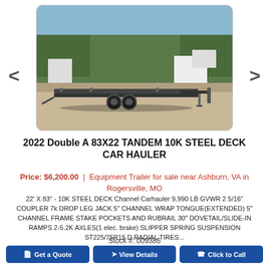[Figure (photo): 2022 Double A tandem steel deck car hauler trailer parked on gravel lot, side view showing low flat deck, dual axles, and extended tongue with jack stands]
2022 Double A 83X22 TANDEM 10K STEEL DECK CAR HAULER
Price: $6,200.00 | Equipment Trailer for sale near Ashburn, VA in Rogersville, MO
22' X 83" - 10K STEEL DECK Channel Carhauler 9,990 LB GVWR 2 5/16" COUPLER 7k DROP LEG JACK 5" CHANNEL WRAP TONGUE(EXTENDED) 5" CHANNEL FRAME STAKE POCKETS AND RUBRAIL 30" DOVETAIL/SLIDE-IN RAMPS 2-5.2K AXLES(1 elec. brake) SLIPPER SPRING SUSPENSION ST225/75R15 D RADIAL TIRES...
Stock #: 009386
Get a Quote
View Details
Click to Call